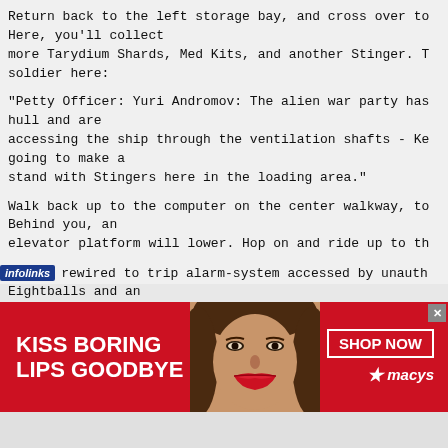Return back to the left storage bay, and cross over to
Here, you'll collect
more Tarydium Shards, Med Kits, and another Stinger. T
soldier here:
"Petty Officer: Yuri Andromov: The alien war party has
hull and are
accessing the ship through the ventilation shafts - Ke
going to make a
stand with Stingers here in the loading area."
Walk back up to the computer on the center walkway, to
Behind you, an
elevator platform will lower. Hop on and ride up to th
Here, there are two paths, but each lead to the same p
Eightballs and an
Auto-Mag. Be wary of the Skaarj who patrol this floor.
out, walk to
the computer panel down the left hall to get the messa
rewired to trip alarm-system accessed by unauth
[Figure (infographic): Red advertisement banner: KISS BORING LIPS GOODBYE with a woman's face and SHOP NOW / macys logo on the right]